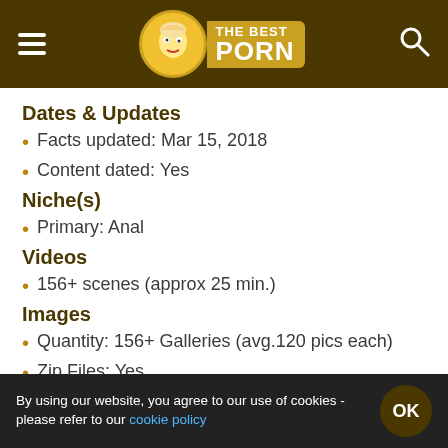THE BEST PORN
Dates & Updates
Facts updated: Mar 15, 2018
Content dated: Yes
Niche(s)
Primary: Anal
Videos
156+ scenes (approx 25 min.)
Images
Quantity: 156+ Galleries (avg.120 pics each)
Zip Files: Yes
By using our website, you agree to our use of cookies - please refer to our cookie policy